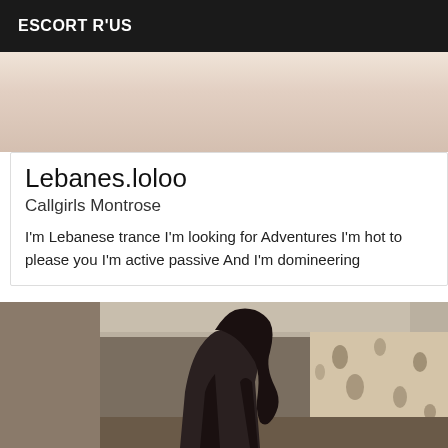ESCORT R'US
[Figure (photo): Partial view of a person, cropped image at top of page]
Lebanes.loloo
Callgirls Montrose
I'm Lebanese trance I'm looking for Adventures I'm hot to please you I'm active passive And I'm domineering
[Figure (photo): Woman with long dark ponytail wearing black outfit, viewed from behind in an indoor setting with patterned wall]